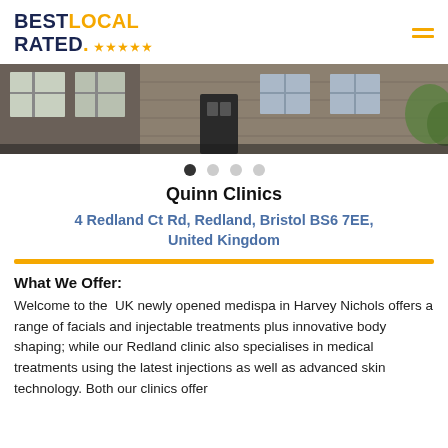BEST LOCAL RATED. ★★★★★
[Figure (photo): Exterior photo of a stone building — Quinn Clinics location in Redland, Bristol. Shows a grey stone facade with windows and a dark door.]
• • • •
Quinn Clinics
4 Redland Ct Rd, Redland, Bristol BS6 7EE, United Kingdom
What We Offer:
Welcome to the  UK newly opened medispa in Harvey Nichols offers a range of facials and injectable treatments plus innovative body shaping; while our Redland clinic also specialises in medical treatments using the latest injections as well as advanced skin technology. Both our clinics offer